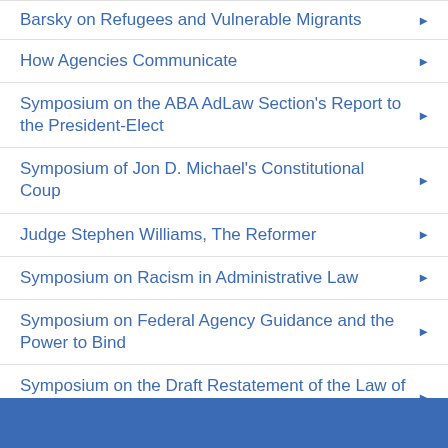Barsky on Refugees and Vulnerable Migrants
How Agencies Communicate
Symposium on the ABA AdLaw Section's Report to the President-Elect
Symposium of Jon D. Michael's Constitutional Coup
Judge Stephen Williams, The Reformer
Symposium on Racism in Administrative Law
Symposium on Federal Agency Guidance and the Power to Bind
Symposium on the Draft Restatement of the Law of Consumer Contracts